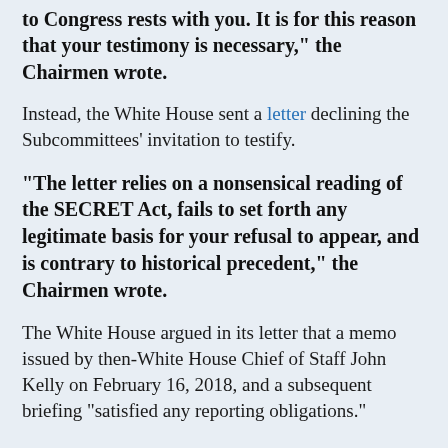to Congress rests with you. It is for this reason that your testimony is necessary," the Chairmen wrote.
Instead, the White House sent a letter declining the Subcommittees' invitation to testify.
“The letter relies on a nonsensical reading of the SECRET Act, fails to set forth any legitimate basis for your refusal to appear, and is contrary to historical precedent,” the Chairmen wrote.
The White House argued in its letter that a memo issued by then-White House Chief of Staff John Kelly on February 16, 2018, and a subsequent briefing “satisfied any reporting obligations.”